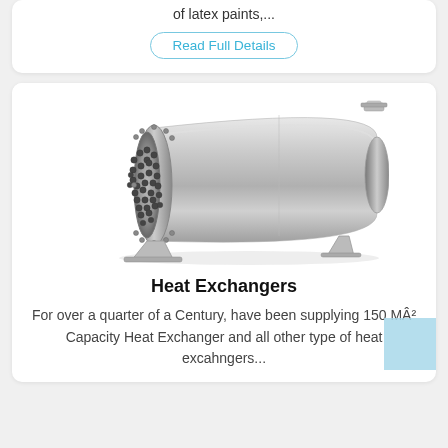of latex paints,...
Read Full Details
[Figure (photo): Stainless steel shell-and-tube heat exchanger, horizontal orientation, with circular tube sheet showing multiple tube holes on the left end and a cylindrical shell body extending to the right with a nozzle at the top right.]
Heat Exchangers
For over a quarter of a Century, have been supplying 150 MÂ² Capacity Heat Exchanger and all other type of heat excahngers...